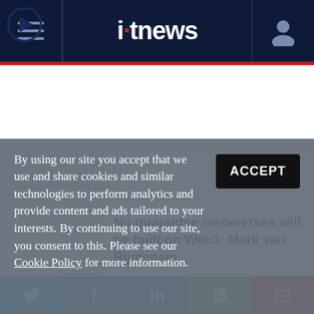itnews
[Figure (screenshot): Thumbnail image placeholder (partially visible, cropped)]
[Figure (screenshot): Video thumbnail with play button icon]
No guarantee metaverses will be built on Web3: Mark van Rijmenam
By using our site you accept that we use and share cookies and similar technologies to perform analytics and provide content and ads tailored to your interests. By continuing to use our site, you consent to this. Please see our Cookie Policy for more information.